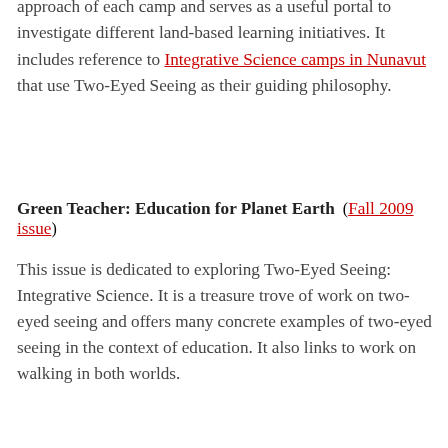States). While discussion of the programs on the site is limited, it does offer a brief analysis of the focus and approach of each camp and serves as a useful portal to investigate different land-based learning initiatives. It includes reference to Integrative Science camps in Nunavut that use Two-Eyed Seeing as their guiding philosophy.
Green Teacher: Education for Planet Earth (Fall 2009 issue)
This issue is dedicated to exploring Two-Eyed Seeing: Integrative Science. It is a treasure trove of work on two-eyed seeing and offers many concrete examples of two-eyed seeing in the context of education. It also links to work on walking in both worlds.